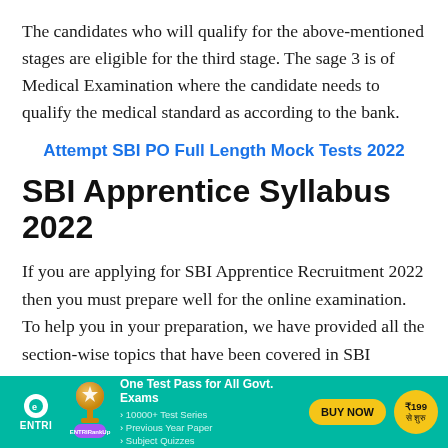The candidates who will qualify for the above-mentioned stages are eligible for the third stage. The sage 3 is of Medical Examination where the candidate needs to qualify the medical standard as according to the bank.
Attempt SBI PO Full Length Mock Tests 2022
SBI Apprentice Syllabus 2022
If you are applying for SBI Apprentice Recruitment 2022 then you must prepare well for the online examination. To help you in your preparation, we have provided all the section-wise topics that have been covered in SBI Apprentice Syllabus 2022.
[Figure (infographic): ENTRI advertisement banner: teal background with ENTRI logo, RankUp trophy graphic, 'One Test Pass for All Govt. Exams' headline, bullet points listing 10000+ Test Series, Previous Year Paper, Subject Quizzes, BUY NOW button, and ₹199 price badge.]